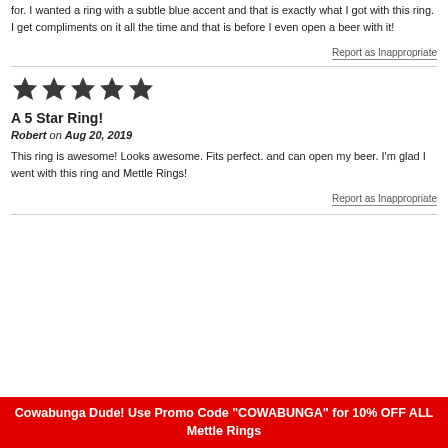for. I wanted a ring with a subtle blue accent and that is exactly what I got with this ring. I get compliments on it all the time and that is before I even open a beer with it!
Report as Inappropriate
[Figure (other): 5 filled star icons indicating a 5-star rating]
A 5 Star Ring!
Robert on Aug 20, 2019
This ring is awesome! Looks awesome. Fits perfect. and can open my beer. I'm glad I went with this ring and Mettle Rings!
Report as Inappropriate
Cowabunga Dude! Use Promo Code "COWABUNGA" for 10% OFF ALL Mettle Rings